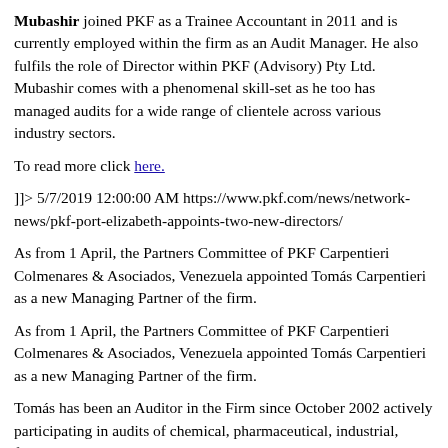Mubashir joined PKF as a Trainee Accountant in 2011 and is currently employed within the firm as an Audit Manager. He also fulfils the role of Director within PKF (Advisory) Pty Ltd. Mubashir comes with a phenomenal skill-set as he too has managed audits for a wide range of clientele across various industry sectors.
To read more click here.
]]> 5/7/2019 12:00:00 AM https://www.pkf.com/news/network-news/pkf-port-elizabeth-appoints-two-new-directors/
As from 1 April, the Partners Committee of PKF Carpentieri Colmenares & Asociados, Venezuela appointed Tomás Carpentieri as a new Managing Partner of the firm.
As from 1 April, the Partners Committee of PKF Carpentieri Colmenares & Asociados, Venezuela appointed Tomás Carpentieri as a new Managing Partner of the firm.
Tomás has been an Auditor in the Firm since October 2002 actively participating in audits of chemical, pharmaceutical, industrial, finance, investment, and construction companies; social clubs, government entities and others.